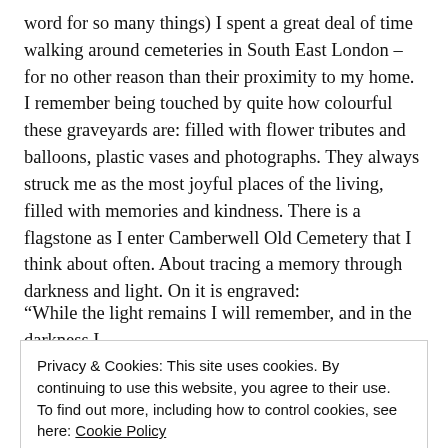word for so many things) I spent a great deal of time walking around cemeteries in South East London – for no other reason than their proximity to my home. I remember being touched by quite how colourful these graveyards are: filled with flower tributes and balloons, plastic vases and photographs. They always struck me as the most joyful places of the living, filled with memories and kindness. There is a flagstone as I enter Camberwell Old Cemetery that I think about often. About tracing a memory through darkness and light. On it is engraved:
“While the light remains I will remember, and in the darkness I
Privacy & Cookies: This site uses cookies. By continuing to use this website, you agree to their use.
To find out more, including how to control cookies, see here: Cookie Policy
as a moth trapped in the lamplight, as a temporary